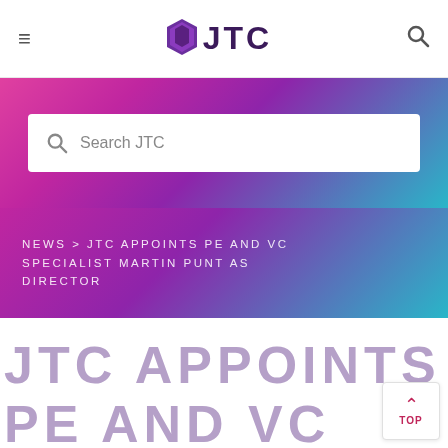≡  JTC  🔍
[Figure (screenshot): JTC website search bar with gradient pink-to-teal background and white search input box containing 'Search JTC']
NEWS > JTC APPOINTS PE AND VC SPECIALIST MARTIN PUNT AS DIRECTOR
JTC APPOINTS PE AND VC SPECIALIST MARTIN PUNT